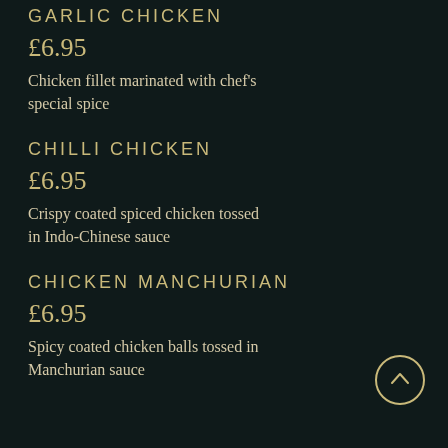GARLIC CHICKEN
£6.95
Chicken fillet marinated with chef's special spice
CHILLI CHICKEN
£6.95
Crispy coated spiced chicken tossed in Indo-Chinese sauce
CHICKEN MANCHURIAN
£6.95
Spicy coated chicken balls tossed in Manchurian sauce